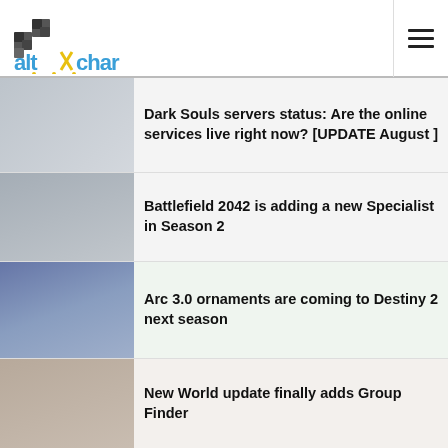altchar
Dark Souls servers status: Are the online services live right now? [UPDATE August ]
Battlefield 2042 is adding a new Specialist in Season 2
Arc 3.0 ornaments are coming to Destiny 2 next season
New World update finally adds Group Finder